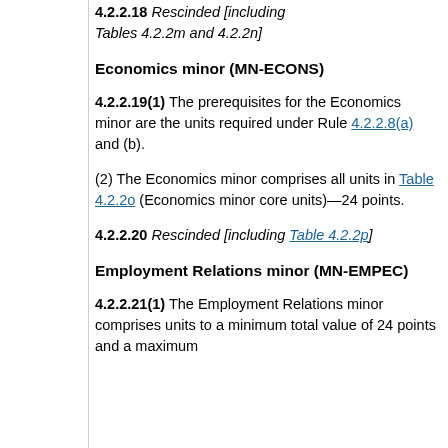4.2.2.18 Rescinded [including Tables 4.2.2m and 4.2.2n]
Economics minor (MN-ECONS)
4.2.2.19(1) The prerequisites for the Economics minor are the units required under Rule 4.2.2.8(a) and (b).
(2) The Economics minor comprises all units in Table 4.2.2o (Economics minor core units)—24 points.
4.2.2.20 Rescinded [including Table 4.2.2p]
Employment Relations minor (MN-EMPEC)
4.2.2.21(1) The Employment Relations minor comprises units to a minimum total value of 24 points and a maximum